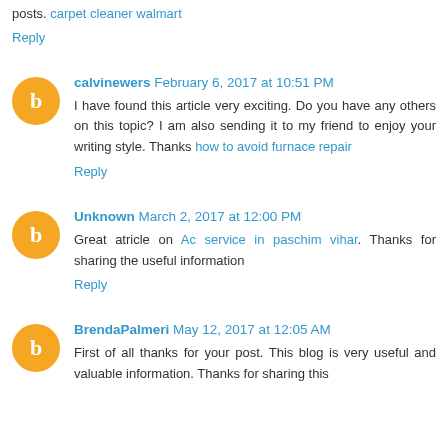posts. carpet cleaner walmart
Reply
calvinewers February 6, 2017 at 10:51 PM
I have found this article very exciting. Do you have any others on this topic? I am also sending it to my friend to enjoy your writing style. Thanks how to avoid furnace repair
Reply
Unknown March 2, 2017 at 12:00 PM
Great atricle on Ac service in paschim vihar. Thanks for sharing the useful information
Reply
BrendaPalmeri May 12, 2017 at 12:05 AM
First of all thanks for your post. This blog is very useful and valuable information. Thanks for sharing this